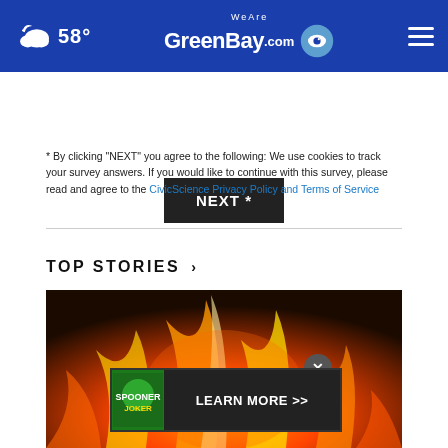WeAreGreenBay.com — 58°
NEXT *
* By clicking "NEXT" you agree to the following: We use cookies to track your survey answers. If you would like to continue with this survey, please read and agree to the CivicScience Privacy Policy and Terms of Service
TOP STORIES ›
[Figure (photo): Close-up photograph of orange and yellow flames against a dark background]
[Figure (screenshot): Advertisement banner: Spooner Joker — LEARN MORE >>]